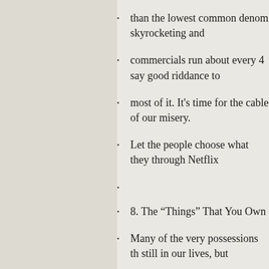than the lowest common denom skyrocketing and
commercials run about every 4 say good riddance to
most of it. It’s time for the cable of our misery.
Let the people choose what they through Netflix
8. The “Things” That You Own
Many of the very possessions th still in our lives, but